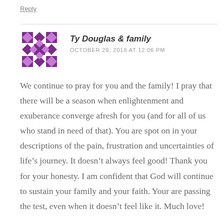Reply
[Figure (illustration): Purple geometric quilt-pattern avatar icon with squares and diamond shapes]
Ty Douglas & family
OCTOBER 29, 2018 AT 12:06 PM
We continue to pray for you and the family! I pray that there will be a season when enlightenment and exuberance converge afresh for you (and for all of us who stand in need of that). You are spot on in your descriptions of the pain, frustration and uncertainties of life’s journey. It doesn’t always feel good! Thank you for your honesty. I am confident that God will continue to sustain your family and your faith. Your are passing the test, even when it doesn’t feel like it. Much love!